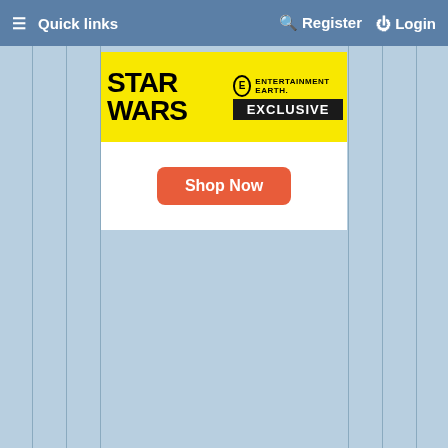≡ Quick links    Register    Login
[Figure (infographic): Star Wars Entertainment Earth Exclusive advertisement banner with yellow top section showing Star Wars logo and Entertainment Earth Exclusive badge, white lower section with orange 'Shop Now' button]